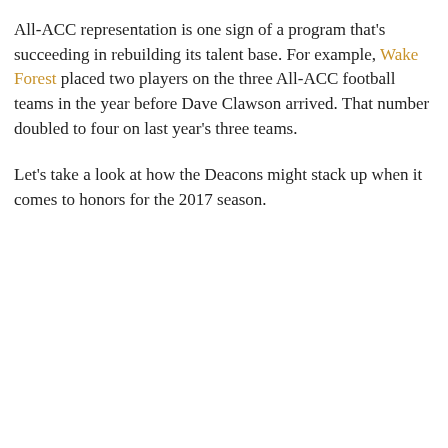All-ACC representation is one sign of a program that's succeeding in rebuilding its talent base. For example, Wake Forest placed two players on the three All-ACC football teams in the year before Dave Clawson arrived. That number doubled to four on last year's three teams.
Let's take a look at how the Deacons might stack up when it comes to honors for the 2017 season.